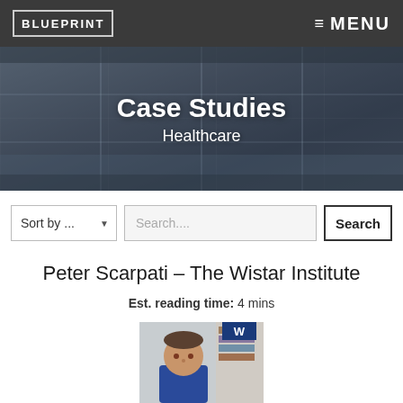BLUEPRINT  ≡ MENU
[Figure (photo): Hero banner showing a modern building interior with glass walls and steel structures, with overlaid text 'Case Studies' and 'Healthcare']
Case Studies
Healthcare
Sort by ...   Search....   Search
Peter Scarpati – The Wistar Institute
Est. reading time: 4 mins
[Figure (photo): Portrait photo of a middle-aged man in a blue jacket, seated in an office environment with bookshelves in the background]